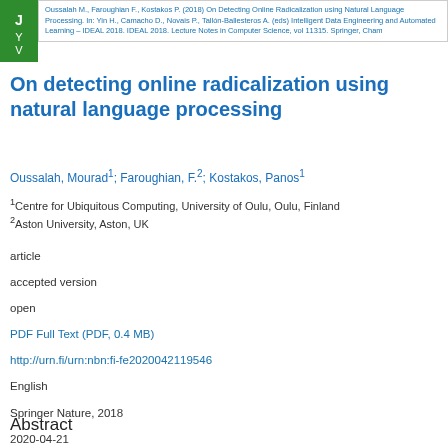Oussalah M., Faroughian F., Kostakos P. (2018) On Detecting Online Radicalization using Natural Language Processing. In: Yin H., Camacho D., Novais P., Tallón-Ballesteros A. (eds) Intelligent Data Engineering and Automated Learning – IDEAL 2018. IDEAL 2018. Lecture Notes in Computer Science, vol 11315. Springer, Cham
On detecting online radicalization using natural language processing
Oussalah, Mourad¹; Faroughian, F.²; Kostakos, Panos¹
¹Centre for Ubiquitous Computing, University of Oulu, Oulu, Finland
²Aston University, Aston, UK
article
accepted version
open
PDF Full Text (PDF, 0.4 MB)
http://urn.fi/urn:nbn:fi-fe2020042119546
English
Springer Nature, 2018
2020-04-21
Abstract